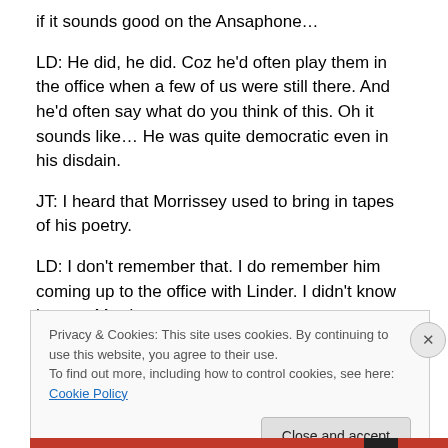if it sounds good on the Ansaphone…
LD: He did, he did. Coz he'd often play them in the office when a few of us were still there. And he'd often say what do you think of this. Oh it sounds like… He was quite democratic even in his disdain.
JT: I heard that Morrissey used to bring in tapes of his poetry.
LD: I don't remember that. I do remember him coming up to the office with Linder. I didn't know he was Morrissey
Privacy & Cookies: This site uses cookies. By continuing to use this website, you agree to their use.
To find out more, including how to control cookies, see here: Cookie Policy
Close and accept